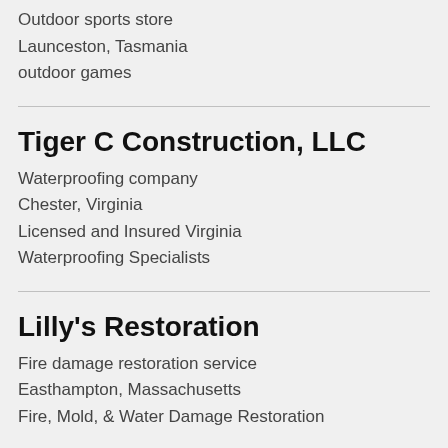Outdoor sports store
Launceston, Tasmania
outdoor games
Tiger C Construction, LLC
Waterproofing company
Chester, Virginia
Licensed and Insured Virginia Waterproofing Specialists
Lilly's Restoration
Fire damage restoration service
Easthampton, Massachusetts
Fire, Mold, & Water Damage Restoration